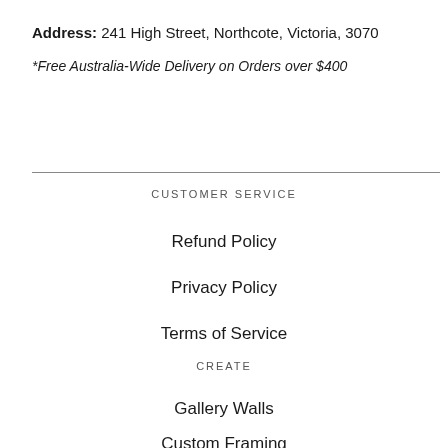Address: 241 High Street, Northcote, Victoria, 3070
*Free Australia-Wide Delivery on Orders over $400
CUSTOMER SERVICE
Refund Policy
Privacy Policy
Terms of Service
CREATE
Gallery Walls
Custom Framing